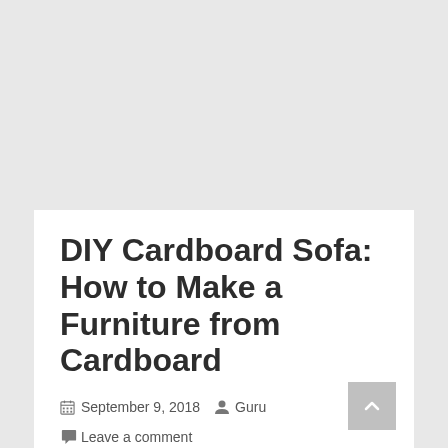DIY Cardboard Sofa: How to Make a Furniture from Cardboard
September 9, 2018  Guru  Leave a comment
If you have hard cardboard boxes in your storage then it